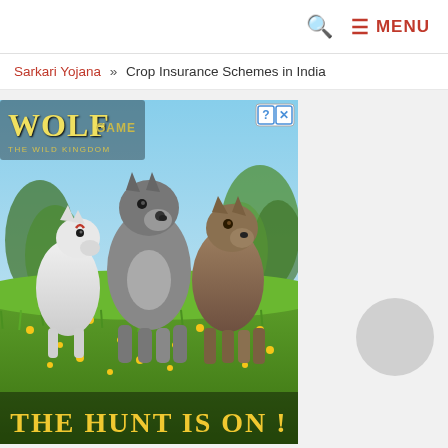🔍  ≡ MENU
Sarkari Yojana » Crop Insurance Schemes in India
[Figure (illustration): Wolf Game: The Wild Kingdom advertisement showing three wolves (one white, two grey/brown) standing in a meadow with yellow flowers. Text reads 'THE HUNT IS ON !' in golden letters. A question-mark/close button appears in the top-right corner of the ad.]